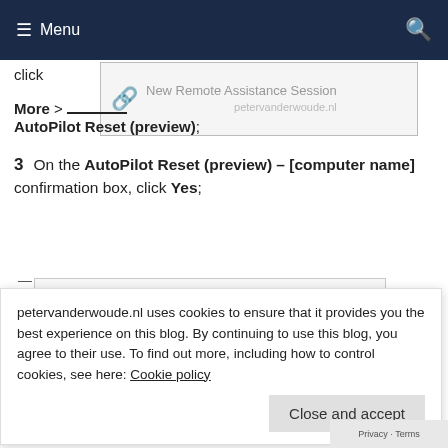Menu
click More > AutoPilot Reset (preview);
[Figure (screenshot): Screenshot showing a link icon with text 'New Remote Assistance Session' and domain 'petervanderwoude.nl']
3  On the AutoPilot Reset (preview) – [computer name] confirmation box, click Yes;
[Figure (screenshot): Screenshot of AutoPilot Reset (preview) confirmation dialog for CLDC/NBI/9132218 with Yes and No buttons]
petervanderwoude.nl uses cookies to ensure that it provides you the best experience on this blog. By continuing to use this blog, you agree to their use. To find out more, including how to control cookies, see here: Cookie policy
Close and accept
End-user experience
Privacy · Terms